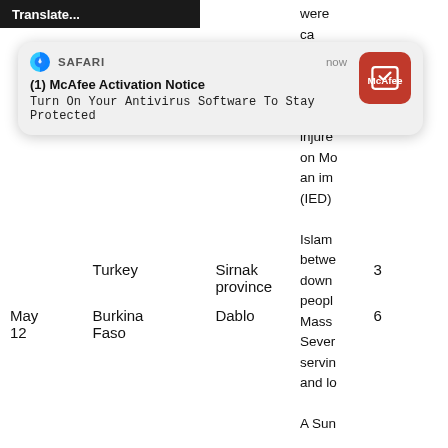[Figure (screenshot): Dark top bar with 'Translate...' text visible]
[Figure (screenshot): Safari browser notification popup: '(1) McAfee Activation Notice - Turn On Your Antivirus Software To Stay Protected' with McAfee red icon and 'now' timestamp]
| Date | Country | Location | Number |
| --- | --- | --- | --- |
|  | Turkey | Sirnak province | 3 |
| May 12 | Burkina Faso | Dablo | 6 |
were ca nb ug Three injure on Mo an im (IED) Islam betwe down peopl Mass Sever servin and lo A Sun